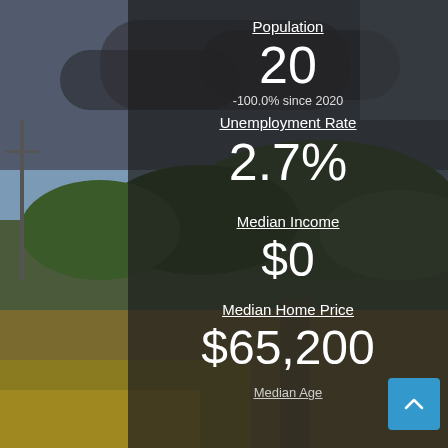Population
20
-100.0% since 2020
Unemployment Rate
2.7%
Median Income
$0
Median Home Price
$65,200
Median Age